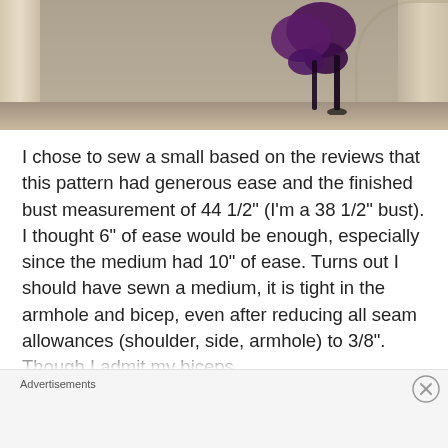[Figure (photo): Partial photo showing someone's legs/feet wearing purple high-heel shoes, standing between stone pillars or columns with an arched background.]
I chose to sew a small based on the reviews that this pattern had generous ease and the finished bust measurement of 44 1/2" (I'm a 38 1/2" bust). I thought 6" of ease would be enough, especially since the medium had 10" of ease. Turns out I should have sewn a medium, it is tight in the armhole and bicep, even after reducing all seam allowances (shoulder, side, armhole) to 3/8". Though I admit my biceps
Advertisements